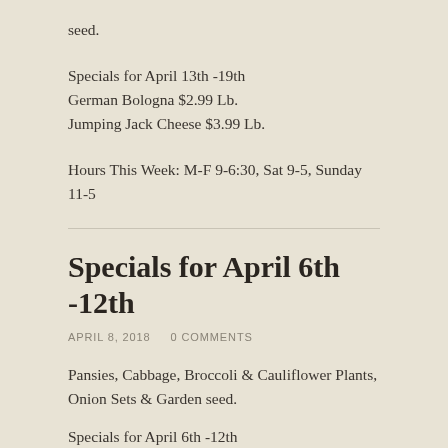seed.
Specials for April 13th -19th
German Bologna $2.99 Lb.
Jumping Jack Cheese $3.99 Lb.
Hours This Week: M-F 9-6:30, Sat 9-5, Sunday 11-5
Specials for April 6th -12th
APRIL 8, 2018    0 COMMENTS
Pansies, Cabbage, Broccoli & Cauliflower Plants, Onion Sets & Garden seed.
Specials for April 6th -12th
Honey Ham $4.99 Lb.
Colby cheese $3.99 Lb.